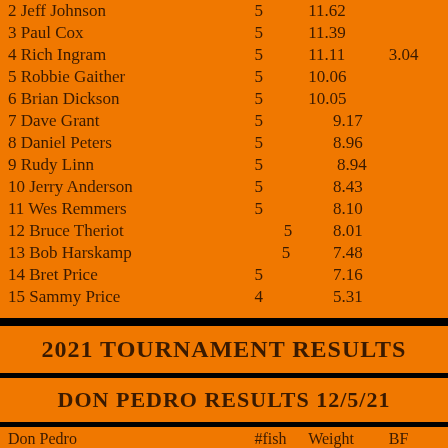| Place Name | #fish | Weight | BF |
| --- | --- | --- | --- |
| 2 Jeff Johnson | 5 | 11.62 |  |
| 3 Paul Cox | 5 | 11.39 |  |
| 4 Rich Ingram | 5 | 11.11 | 3.04 |
| 5 Robbie Gaither | 5 | 10.06 |  |
| 6 Brian Dickson | 5 | 10.05 |  |
| 7 Dave Grant | 5 | 9.17 |  |
| 8 Daniel Peters | 5 | 8.96 |  |
| 9 Rudy Linn | 5 | 8.94 |  |
| 10 Jerry Anderson | 5 | 8.43 |  |
| 11 Wes Remmers | 5 | 8.10 |  |
| 12 Bruce Theriot | 5 | 8.01 |  |
| 13 Bob Harskamp | 5 | 7.48 |  |
| 14 Bret Price | 5 | 7.16 |  |
| 15 Sammy Price | 4 | 5.31 |  |
2021 TOURNAMENT RESULTS
DON PEDRO RESULTS 12/5/21
| Don Pedro | #fish | Weight | BF |
| --- | --- | --- | --- |
| 1 Rich Ingram | 5 | 10.88 | 2.83 |
| 2 Claudia Sil... | 5 | 10.39 |  |